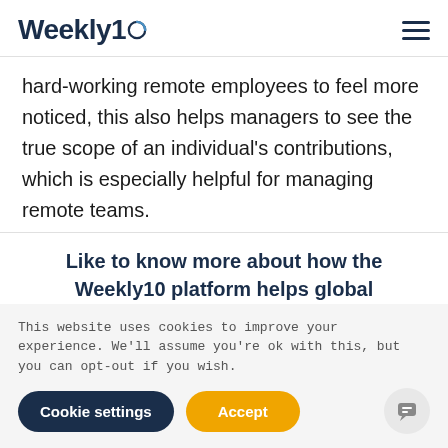Weekly10
hard-working remote employees to feel more noticed, this also helps managers to see the true scope of an individual's contributions, which is especially helpful for managing remote teams.
Like to know more about how the Weekly10 platform helps global companies traverse the pitfalls of remote working?
This website uses cookies to improve your experience. We'll assume you're ok with this, but you can opt-out if you wish.
Cookie settings | Accept